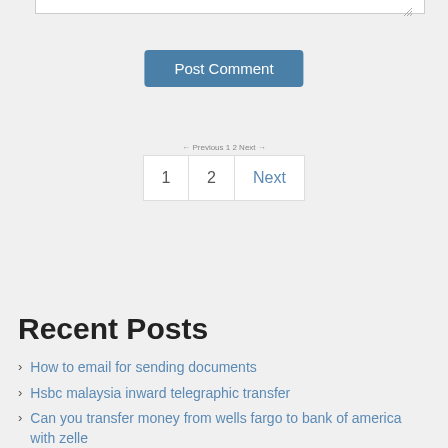[Figure (screenshot): Bottom edge of a textarea form input with resize handle visible in bottom-right corner]
[Figure (screenshot): Post Comment button - blue rounded rectangle button with white text]
[Figure (screenshot): Pagination controls showing page 1, 2, and Next buttons]
[Figure (screenshot): Search bar with text input showing placeholder 'Search' and a blue search button with magnifying glass icon]
Recent Posts
How to email for sending documents
Hsbc malaysia inward telegraphic transfer
Can you transfer money from wells fargo to bank of america with zelle